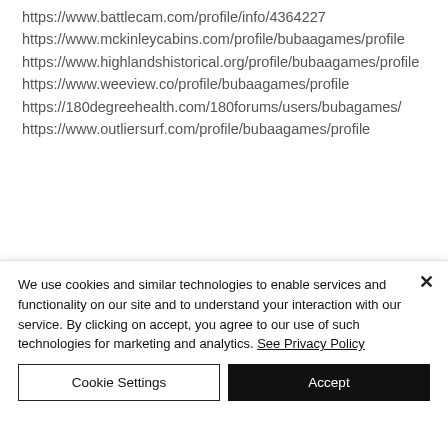https://www.battlecam.com/profile/info/4364227
https://www.mckinleycabins.com/profile/bubaagames/profile
https://www.highlandshistorical.org/profile/bubaagames/profile
https://www.weeview.co/profile/bubaagames/profile
https://180degreehealth.com/180forums/users/bubagames/
https://www.outliersurf.com/profile/bubaagames/profile
We use cookies and similar technologies to enable services and functionality on our site and to understand your interaction with our service. By clicking on accept, you agree to our use of such technologies for marketing and analytics. See Privacy Policy